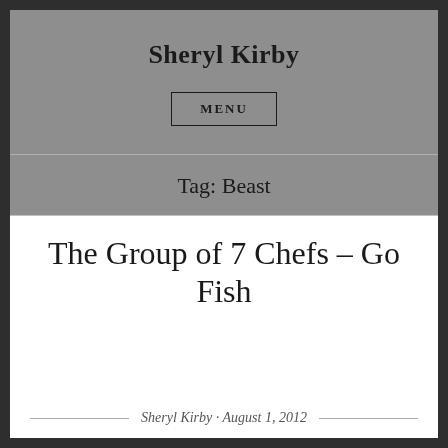Sheryl Kirby
MENU
Tag: Beast
The Group of 7 Chefs – Go Fish
Sheryl Kirby · August 1, 2012